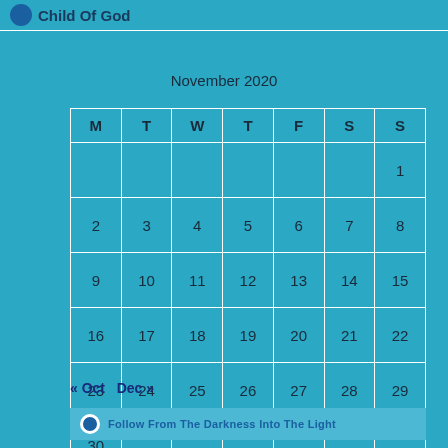Child Of God
November 2020
| M | T | W | T | F | S | S |
| --- | --- | --- | --- | --- | --- | --- |
|  |  |  |  |  |  | 1 |
| 2 | 3 | 4 | 5 | 6 | 7 | 8 |
| 9 | 10 | 11 | 12 | 13 | 14 | 15 |
| 16 | 17 | 18 | 19 | 20 | 21 | 22 |
| 23 | 24 | 25 | 26 | 27 | 28 | 29 |
| 30 |  |  |  |  |  |  |
« Oct   Dec »
Follow From The Darkness Into The Light